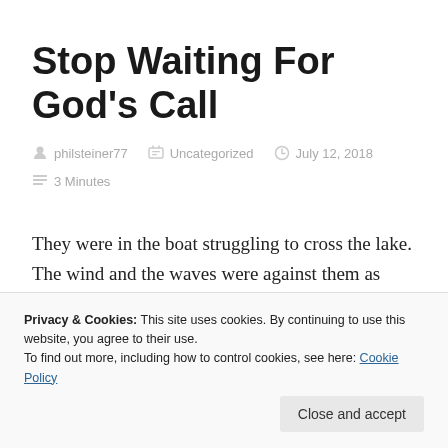Stop Waiting For God’s Call
philsteiner77   Uncategorized   July 12, 2018
3 Minutes
They were in the boat struggling to cross the lake. The wind and the waves were against them as they tried
Privacy & Cookies: This site uses cookies. By continuing to use this website, you agree to their use.
To find out more, including how to control cookies, see here: Cookie Policy
alone time with His Father. Jesus was probably